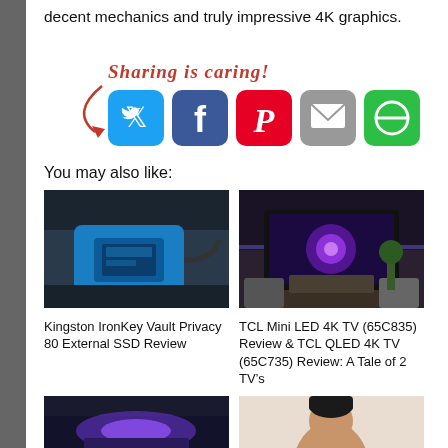decent mechanics and truly impressive 4K graphics.
[Figure (infographic): Sharing is caring! banner with arrow and social media share buttons: Twitter, Facebook, Pinterest, Email, More Options]
You may also like:
[Figure (photo): Kingston IronKey Vault Privacy 80 External SSD - blue portable encrypted storage device on dark background]
Kingston IronKey Vault Privacy 80 External SSD Review
[Figure (photo): TCL Mini LED 4K TV in a dark living room with blue ambient lighting]
TCL Mini LED 4K TV (65C835) Review & TCL QLED 4K TV (65C735) Review: A Tale of 2 TV’s
[Figure (photo): Partial view of a product with purple/blue glowing light]
[Figure (photo): Partial view of a person's face]